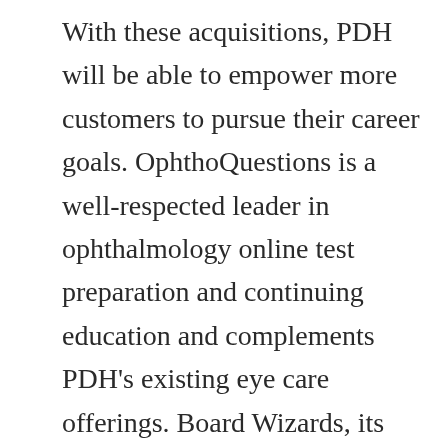With these acquisitions, PDH will be able to empower more customers to pursue their career goals. OphthoQuestions is a well-respected leader in ophthalmology online test preparation and continuing education and complements PDH's existing eye care offerings. Board Wizards, its podiatry-focused sister company, provides comprehensive board test prep solutions as well as supplemental learning courses. SunCam has been a global provider of engineering continuing education and training since 2002 and offers convenient online courses for engineers across all